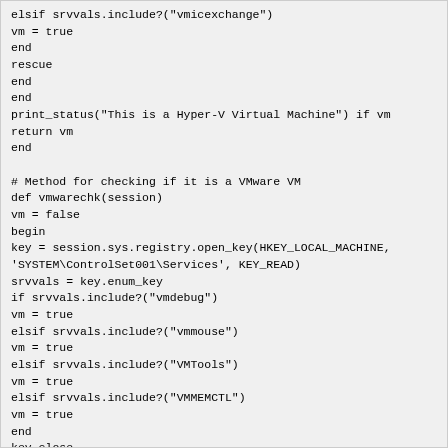elsif srvvals.include?("vmicexchange")
vm = true
end
rescue
end
end
print_status("This is a Hyper-V Virtual Machine") if vm
return vm
end

# Method for checking if it is a VMware VM
def vmwarechk(session)
vm = false
begin
key = session.sys.registry.open_key(HKEY_LOCAL_MACHINE,
'SYSTEM\ControlSet001\Services', KEY_READ)
srvvals = key.enum_key
if srvvals.include?("vmdebug")
vm = true
elsif srvvals.include?("vmmouse")
vm = true
elsif srvvals.include?("VMTools")
vm = true
elsif srvvals.include?("VMMEMCTL")
vm = true
end
key.close
rescue
end
if not vm
begin
key = session.sys.registry.open_key(HKEY_LOCAL_MACHINE,
'HARDWARE\DEVICEMAP\Scsi\Scsi Port 0\Scsi Bus 0\Target Id 0\Logical Unit Id 0')
if key.query_value('Identifier').data.downcase =~ /vmware/
vm = true
end
rescue